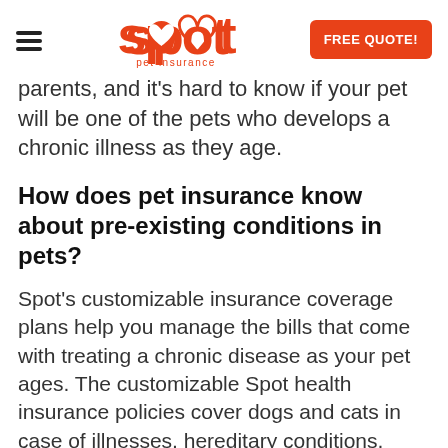Spot Pet Insurance
parents, and it's hard to know if your pet will be one of the pets who develops a chronic illness as they age.
How does pet insurance know about pre-existing conditions in pets?
Spot's customizable insurance coverage plans help you manage the bills that come with treating a chronic disease as your pet ages. The customizable Spot health insurance policies cover dogs and cats in case of illnesses, hereditary conditions, behavioral issues, dental disease, cancer, and more